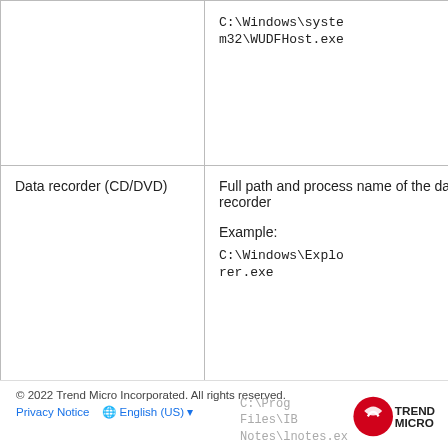|  | C:\Windows\system32\WUDFHost.exe |
| Data recorder (CD/DVD) | Full path and process name of the data recorder

Example:

C:\Windows\Explorer.exe |
| Windows clipboard | Not applicable |
| Email client - Lotus Notes | Full path and process name of Lotus Notes

Example:

C:\Program Files\IBM\Notes\notes.exe |
© 2022 Trend Micro Incorporated. All rights reserved.
Privacy Notice  🌐 English (US)